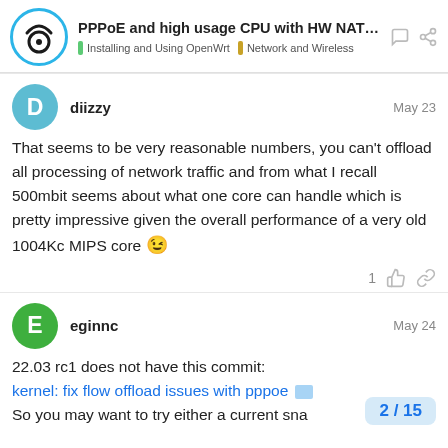PPPoE and high usage CPU with HW NAT on MT... | Installing and Using OpenWrt | Network and Wireless
diizzy   May 23
That seems to be very reasonable numbers, you can't offload all processing of network traffic and from what I recall 500mbit seems about what one core can handle which is pretty impressive given the overall performance of a very old 1004Kc MIPS core 😉
eginnc   May 24
22.03 rc1 does not have this commit:
kernel: fix flow offload issues with pppoe
So you may want to try either a current sna